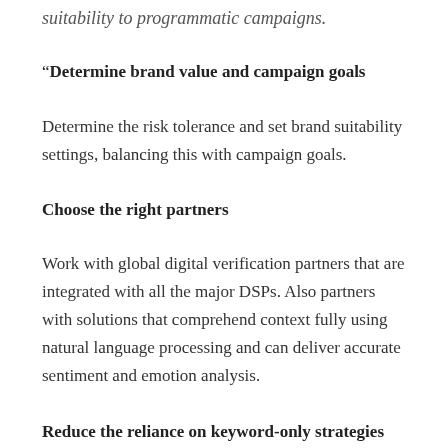suitability to programmatic campaigns.
“Determine brand value and campaign goals
Determine the risk tolerance and set brand suitability settings, balancing this with campaign goals.
Choose the right partners
Work with global digital verification partners that are integrated with all the major DSPs. Also partners with solutions that comprehend context fully using natural language processing and can deliver accurate sentiment and emotion analysis.
Reduce the reliance on keyword-only strategies